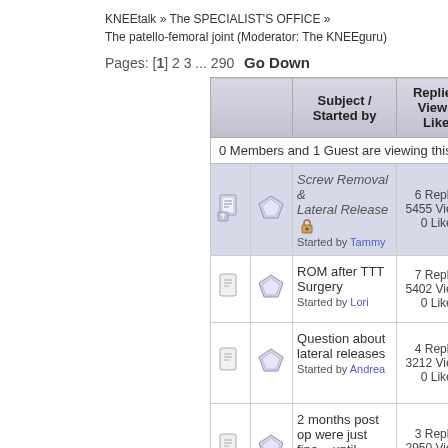KNEEtalk » The SPECIALIST'S OFFICE » The patello-femoral joint (Moderator: The KNEEguru)
Pages: [1] 2 3 ... 290  Go Down
|  |  | Subject / Started by | Replies / Views / Likes | Last p |
| --- | --- | --- | --- | --- |
| [icon] | [icon] | Screw Removal & Lateral Release [lock] Started by Tammy | 6 Replies 5455 Views / 0 Likes | July 17, 2002, 09:01:43 by Tammy |
| [icon] | [icon] | ROM after TTT Surgery Started by Lori | 7 Replies 5402 Views / 0 Likes | July 20, 2002, 03:22:17 by Daniel |
| [icon] | [icon] | Question about lateral releases Started by Andrea | 4 Replies 3212 Views / 0 Likes | July 22, 2002, 11:42:30 by The KNEEguru |
| [icon] | [icon] | 2 months post op were just fine... until... Started by KaraEcho | 3 Replies 2950 Views / 0 Likes | July 23, 2002, 04:44:04 by KaraE |
| [icon] | [icon] | PT tomorrow Started by Sharon | 4 Replies 3384 Views / 0 Likes | July 23, 2002, 05:51:27 by Cari |